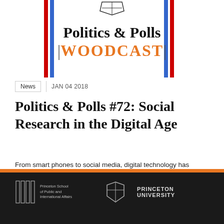[Figure (logo): Politics & Polls podcast logo with red and blue vertical bars and orange WOODCAST text]
News   JAN 04 2018
Politics & Polls #72: Social Research in the Digital Age
From smart phones to social media, digital technology has changed the way we live — åallowing for new explorations of human behavior. Big...
[Figure (logo): Princeton School of Public and International Affairs logo and Princeton University shield logo on dark footer]